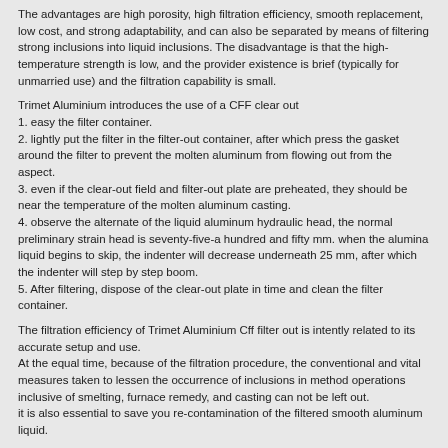The advantages are high porosity, high filtration efficiency, smooth replacement, low cost, and strong adaptability, and can also be separated by means of filtering strong inclusions into liquid inclusions. The disadvantage is that the high-temperature strength is low, and the provider existence is brief (typically for unmarried use) and the filtration capability is small.
Trimet Aluminium introduces the use of a CFF clear out
1. easy the filter container.
2. lightly put the filter in the filter-out container, after which press the gasket around the filter to prevent the molten aluminum from flowing out from the aspect.
3. even if the clear-out field and filter-out plate are preheated, they should be near the temperature of the molten aluminum casting.
4. observe the alternate of the liquid aluminum hydraulic head, the normal preliminary strain head is seventy-five-a hundred and fifty mm. when the alumina liquid begins to skip, the indenter will decrease underneath 25 mm, after which the indenter will step by step boom.
5. After filtering, dispose of the clear-out plate in time and clean the filter container.
The filtration efficiency of Trimet Aluminium Cff filter out is intently related to its accurate setup and use.
At the equal time, because of the filtration procedure, the conventional and vital measures taken to lessen the occurrence of inclusions in method operations inclusive of smelting, furnace remedy, and casting can not be left out.
it is also essential to save you re-contamination of the filtered smooth aluminum liquid.